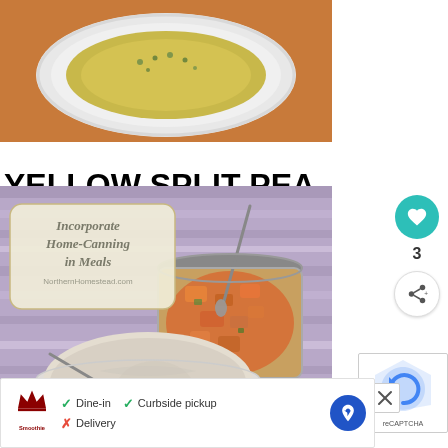[Figure (photo): Top-down photo of a white bowl containing yellow split pea stew with green herb garnish, on an orange/brown surface]
YELLOW SPLIT PEA STEW RECIPE
[Figure (photo): Top-down photo on striped placemat showing a glass jar of orange chunky vegetable mixture with a spoon, and a glass bowl of creamy beige hummus/dip with a spoon. An overlay text card reads 'Incorporate Home-Canning in Meals' with 'NorthernHomestead.com' below in italic text.]
3
[Figure (other): reCAPTCHA widget with blue arrow icon]
[Figure (other): Advertisement bar for Smoothie King showing Dine-in (checkmark), Curbside pickup (checkmark), Delivery (X cross), and a blue navigation/map pin icon]